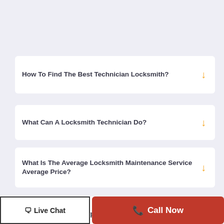How To Find The Best Technician Locksmith?
What Can A Locksmith Technician Do?
What Is The Average Locksmith Maintenance Service Average Price?
What Are Different Types Of Technicians Locksmiths?
🗨Live Chat
📞 Call Now